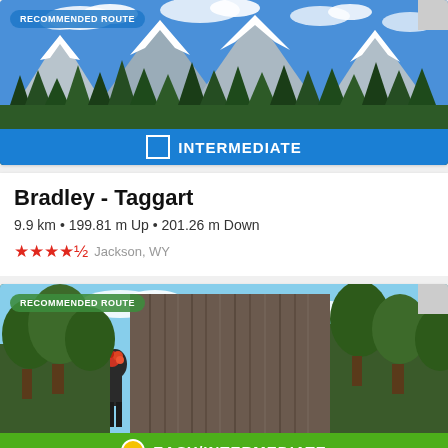[Figure (photo): Mountain landscape with snow-capped Teton peaks, green pine forest in foreground, blue sky with clouds. Blue banner at bottom says INTERMEDIATE with white square icon.]
Bradley - Taggart
9.9 km • 199.81 m Up • 201.26 m Down
★★★★½  Jackson, WY
[Figure (photo): Person climbing a large rock tower formation with trees and sky visible. Green banner at bottom says EASY/INTERMEDIATE with yellow circle icon inside white square.]